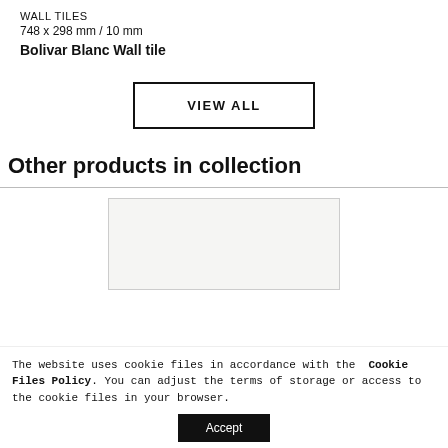WALL TILES
748 x 298 mm / 10 mm
Bolivar Blanc Wall tile
VIEW ALL
Other products in collection
[Figure (photo): Light-colored rectangular wall tile product image placeholder]
The website uses cookie files in accordance with the Cookie Files Policy. You can adjust the terms of storage or access to the cookie files in your browser.
Accept